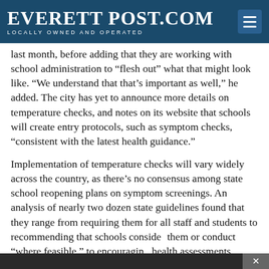EverettPost.com — Locally Owned and Operated
last month, before adding that they are working with school administration to “flesh out” what that might look like. “We understand that that’s important as well,” he added. The city has yet to announce more details on temperature checks, and notes on its website that schools will create entry protocols, such as symptom checks, “consistent with the latest health guidance.”
Implementation of temperature checks will vary widely across the country, as there’s no consensus among state school reopening plans on symptom screenings. An analysis of nearly two dozen state guidelines found that they range from requiring them for all staff and students to recommending that schools consider them or conduct “where feasible,” to encouraging health assessments before arrival to ultimately referring districts to local health department requirements.